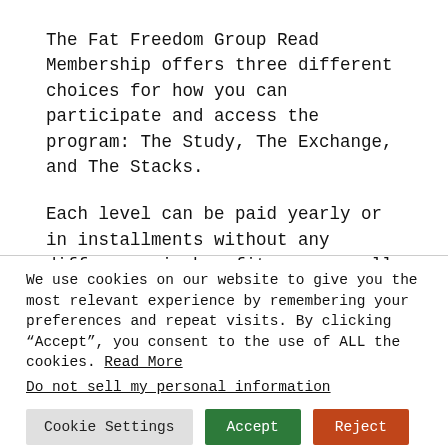The Fat Freedom Group Read Membership offers three different choices for how you can participate and access the program: The Study, The Exchange, and The Stacks.
Each level can be paid yearly or in installments without any difference in benefits or overall price.
We use cookies on our website to give you the most relevant experience by remembering your preferences and repeat visits. By clicking “Accept”, you consent to the use of ALL the cookies. Read More
Do not sell my personal information